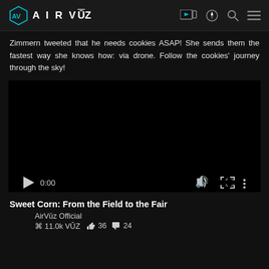AirVūz
Zimmern tweeted that he needs cookies ASAP!  She sends them the fastest way she knows how: via drone. Follow the cookies' journey through the sky!
[Figure (screenshot): Embedded video player showing black screen with play button, time 0:00, volume and fullscreen controls, and a progress bar at the bottom]
Sweet Corn: From the Field to the Fair
AirVūz Official
⌘ 11.0k VŪZ  👍 36  💬 24